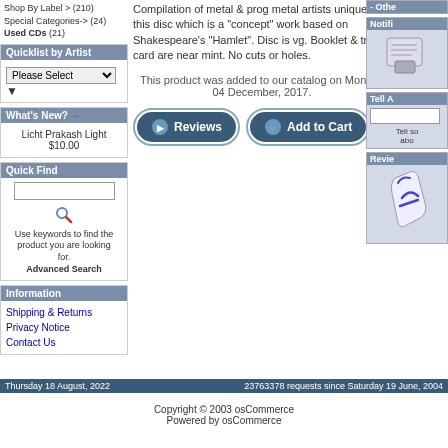Quicklist by Artist
Please Select
What's New?
Licht Prakash Light
$10.00
Quick Find
Use keywords to find the product you are looking for. Advanced Search
Information
Shipping & Returns
Privacy Notice
Contact Us
Compilation of metal & prog metal artists unique to this disc which is a "concept" work based on Shakespeare's "Hamlet". Disc is vg. Booklet & tray card are near mint. No cuts or holes.
This product was added to our catalog on Monday 04 December, 2017.
[Figure (screenshot): Reviews button (teal rounded rectangle with Reviews text)]
[Figure (screenshot): Add to Cart button (teal rounded rectangle with cart icon and Add to Cart text)]
Notifi
Tell A
Revie
Thursday 18 August, 2022    23763378 requests since Saturday 19 June, 2004
Copyright © 2003 osCommerce
Powered by osCommerce